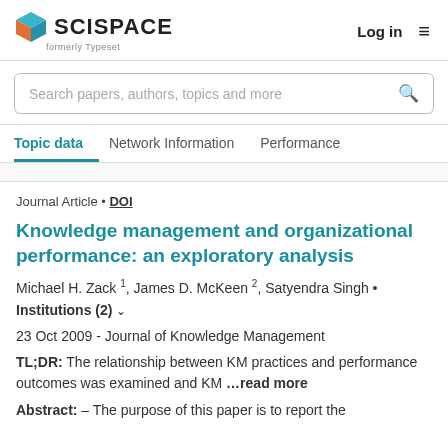[Figure (logo): SciSpace logo with colored cube and text 'SCISPACE formerly Typeset']
Log in  ≡
Search papers, authors, topics and more
Topic data  Network Information  Performance
Journal Article • DOI
Knowledge management and organizational performance: an exploratory analysis
Michael H. Zack 1, James D. McKeen 2, Satyendra Singh · Institutions (2) ∨
23 Oct 2009 - Journal of Knowledge Management
TL;DR: The relationship between KM practices and performance outcomes was examined and KM ...read more
Abstract: – The purpose of this paper is to report the